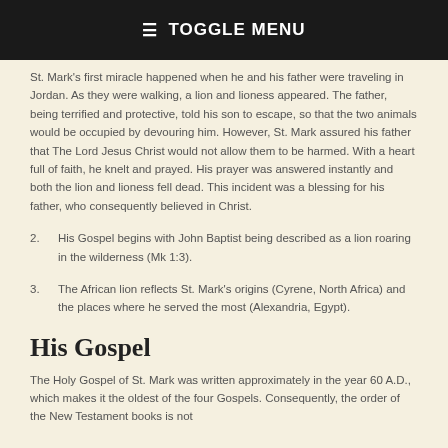≡ TOGGLE MENU
St. Mark's first miracle happened when he and his father were traveling in Jordan. As they were walking, a lion and lioness appeared. The father, being terrified and protective, told his son to escape, so that the two animals would be occupied by devouring him. However, St. Mark assured his father that The Lord Jesus Christ would not allow them to be harmed. With a heart full of faith, he knelt and prayed. His prayer was answered instantly and both the lion and lioness fell dead. This incident was a blessing for his father, who consequently believed in Christ.
2. His Gospel begins with John Baptist being described as a lion roaring in the wilderness (Mk 1:3).
3. The African lion reflects St. Mark's origins (Cyrene, North Africa) and the places where he served the most (Alexandria, Egypt).
His Gospel
The Holy Gospel of St. Mark was written approximately in the year 60 A.D., which makes it the oldest of the four Gospels. Consequently, the order of the New Testament books is not